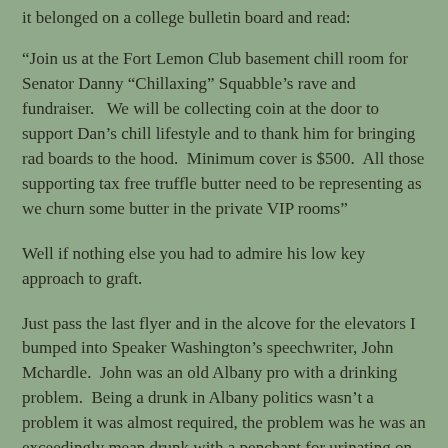it belonged on a college bulletin board and read:
“Join us at the Fort Lemon Club basement chill room for Senator Danny “Chillaxing” Squabble’s rave and fundraiser.   We will be collecting coin at the door to support Dan’s chill lifestyle and to thank him for bringing rad boards to the hood.  Minimum cover is $500.  All those supporting tax free truffle butter need to be representing as we churn some butter in the private VIP rooms”
Well if nothing else you had to admire his low key approach to graft.
Just pass the last flyer and in the alcove for the elevators I bumped into Speaker Washington’s speechwriter, John Mchardle.  John was an old Albany pro with a drinking problem.  Being a drunk in Albany politics wasn’t a problem it was almost required, the problem was he was an exceedingly mean drunk with a penchant for urinating on everyone around him if they annoyed him.  For a short Irishman he had an amazingly large bladder.